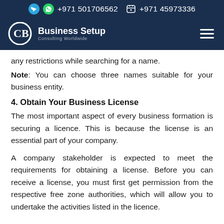+971 501706562  +971 45973336
[Figure (logo): Business Setup Consulting Worldwide logo with navigation bar on dark navy background]
any restrictions while searching for a name.
Note: You can choose three names suitable for your business entity.
4. Obtain Your Business License
The most important aspect of every business formation is securing a licence. This is because the license is an essential part of your company.
A company stakeholder is expected to meet the requirements for obtaining a license. Before you can receive a license, you must first get permission from the respective free zone authorities, which will allow you to undertake the activities listed in the licence.